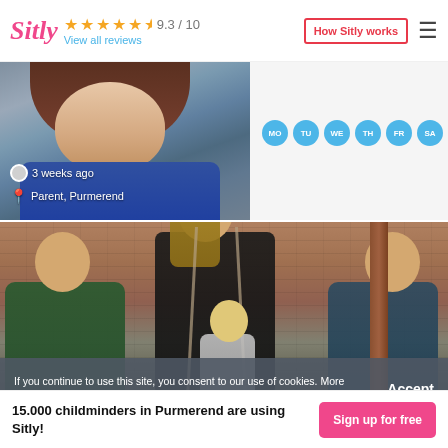Sitly ★★★★½ 9.3 / 10 View all reviews | How Sitly works
[Figure (photo): Cropped photo of a woman with brown hair smiling, showing 3 weeks ago timestamp and Parent, Purmerend location. Day badges: MO TU WE TH FR SA SU.]
[Figure (photo): Family photo at a playground with brick building in background. An adult lifts a toddler on a swing chain, another adult and child nearby.]
If you continue to use this site, you consent to our use of cookies. More under settings.
Accept
15.000 childminders in Purmerend are using Sitly!
Sign up for free